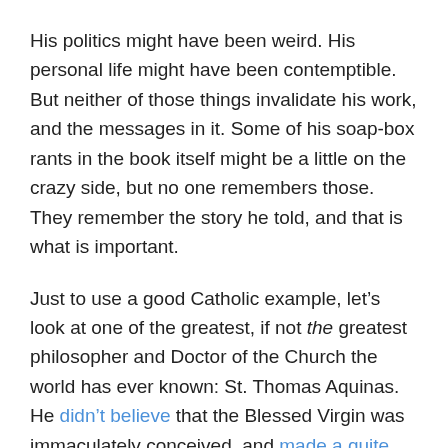His politics might have been weird. His personal life might have been contemptible.  But neither of those things invalidate his work, and the messages in it. Some of his soap-box rants in the book itself might be a little on the crazy side, but no one remembers those. They remember the story he told, and that is what is important.
Just to use a good Catholic example, let’s look at one of the greatest, if not the greatest philosopher and Doctor of the Church the world has ever known: St. Thomas Aquinas. He didn’t believe that the Blessed Virgin was immaculately conceived, and made a quite convincing argument about it. At the time, this was not a matter of dogma, and he was allowed to think that.
Now, though, it is a matter of dogma. It has been